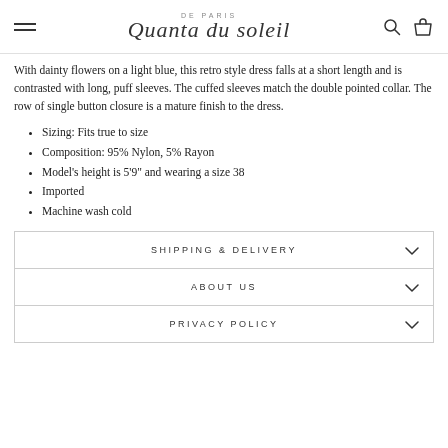DE PARIS | Quanta du soleil
With dainty flowers on a light blue, this retro style dress falls at a short length and is contrasted with long, puff sleeves. The cuffed sleeves match the double pointed collar. The row of single button closure is a mature finish to the dress.
Sizing: Fits true to size
Composition: 95% Nylon, 5% Rayon
Model's height is 5'9" and wearing a size 38
Imported
Machine wash cold
SHIPPING & DELIVERY
ABOUT US
PRIVACY POLICY